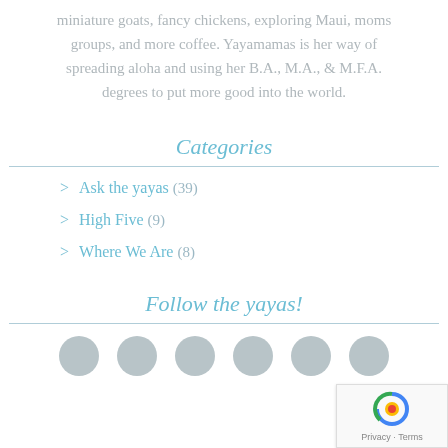miniature goats, fancy chickens, exploring Maui, moms groups, and more coffee. Yayamamas is her way of spreading aloha and using her B.A., M.A., & M.F.A. degrees to put more good into the world.
Categories
Ask the yayas (39)
High Five (9)
Where We Are (8)
Follow the yayas!
[Figure (other): Row of circular social media icons (gray): Instagram, Facebook, Pinterest, Twitter, LinkedIn, RSS feed]